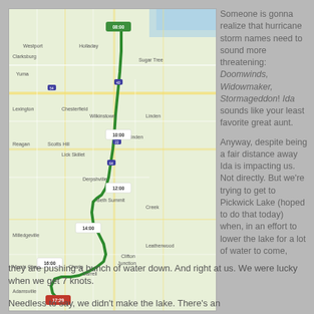[Figure (map): Google Maps style route map showing a green path from a start point (08:00) winding south through rural Tennessee/Mississippi area, with time markers at 10:00, 12:00, 14:00, 16:00, and ending at 17:29 near Corinth/Adamsville area.]
Someone is gonna realize that hurricane storm names need to sound more threatening: Doomwinds, Widowmaker, Stormageddon! Ida sounds like your least favorite great aunt.

Anyway, despite being a fair distance away Ida is impacting us. Not directly. But we're trying to get to Pickwick Lake (hoped to do that today) when, in an effort to lower the lake for a lot of water to come, they are pushing a bunch of water down. And right at us. We were lucky when we get 7 knots.
Needless to say, we didn't make the lake. There's an